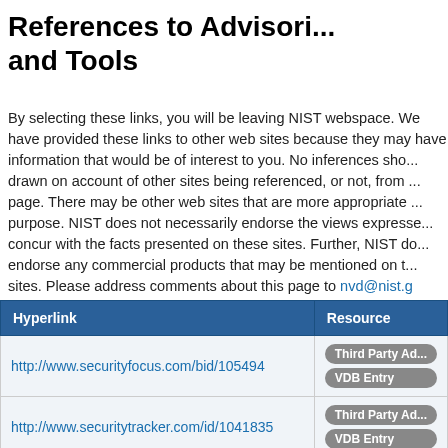References to Advisories, Solutions and Tools
By selecting these links, you will be leaving NIST webspace. We have provided these links to other web sites because they may have information that would be of interest to you. No inferences should be drawn on account of other sites being referenced, or not, from this page. There may be other web sites that are more appropriate for your purpose. NIST does not necessarily endorse the views expressed, or concur with the facts presented on these sites. Further, NIST does not endorse any commercial products that may be mentioned on these sites. Please address comments about this page to nvd@nist.g
| Hyperlink | Resource |
| --- | --- |
| http://www.securityfocus.com/bid/105494 | Third Party Advisory
VDB Entry |
| http://www.securitytracker.com/id/1041835 | Third Party Advisory
VDB Entry |